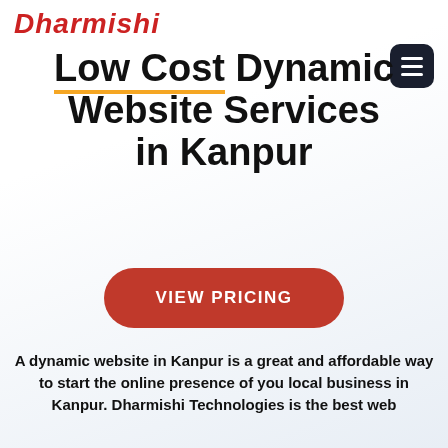Dharmishi
Low Cost Dynamic Website Services in Kanpur
VIEW PRICING
A dynamic website in Kanpur is a great and affordable way to start the online presence of you local business in Kanpur. Dharmishi Technologies is the best web